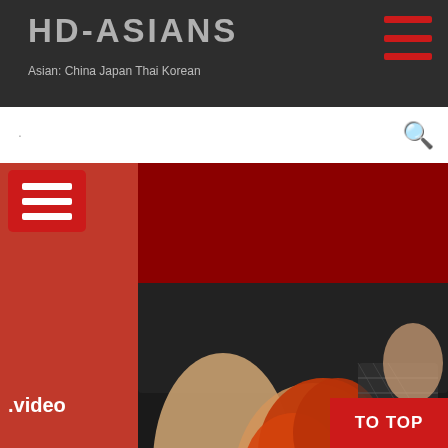HD-ASIANS — Asian: China Japan Thai Korean
[Figure (screenshot): Website screenshot showing HD-Asians adult video website with header, search bar, hamburger menus, and two video thumbnail images]
.video
Redhead Teen   tube
TO TOP